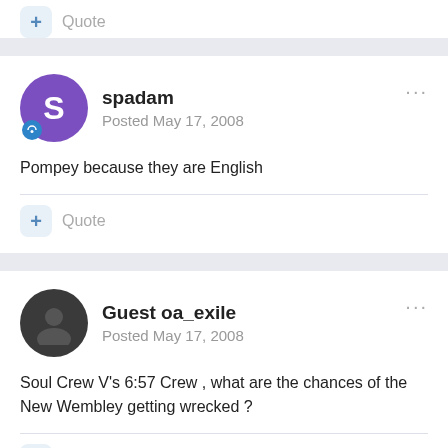Quote
spadam
Posted May 17, 2008
Pompey because they are English
Quote
Guest oa_exile
Posted May 17, 2008
Soul Crew V's 6:57 Crew , what are the chances of the New Wembley getting wrecked ?
Quote